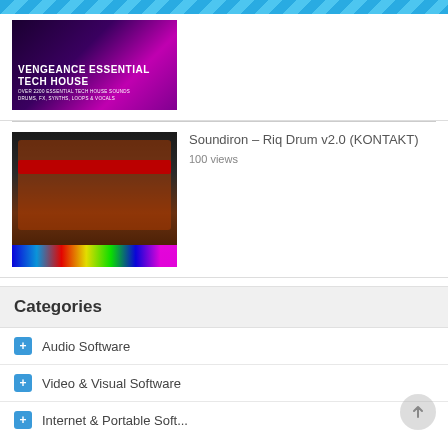[Figure (screenshot): Vengeance Essential Tech House promotional banner with purple/magenta background and text]
[Figure (screenshot): Soundiron Riq Drum v2.0 KONTAKT plugin screenshot showing drum machine interface with keyboard]
Soundiron – Riq Drum v2.0 (KONTAKT)
100 views
Categories
Audio Software
Video & Visual Software